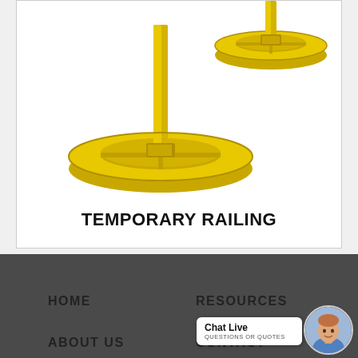[Figure (illustration): Two yellow temporary railing post bases - round weighted disc bases with vertical poles, rendered in 3D illustration style in bright yellow color]
TEMPORARY RAILING
HOME   RESOURCES   ABOUT US   CONTACT